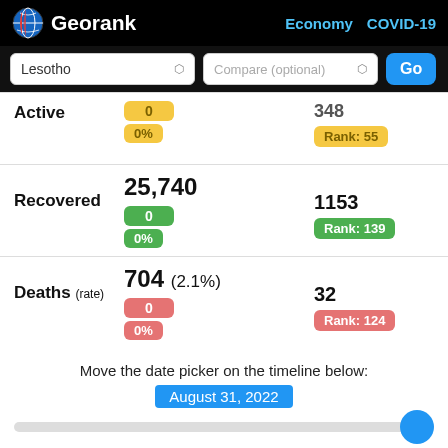Georank — Economy COVID-19
Lesotho | Compare (optional) | Go
Active: 0, 0%, 348, Rank: 55
Recovered: 25,740, 0, 0%, 1153, Rank: 139
Deaths (rate): 704 (2.1%), 0, 0%, 32, Rank: 124
Move the date picker on the timeline below: August 31, 2022